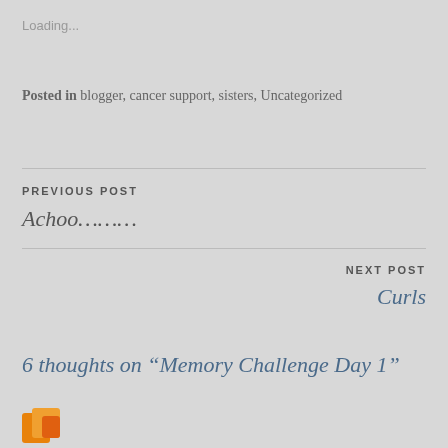Loading...
Posted in blogger, cancer support, sisters, Uncategorized
PREVIOUS POST
Achoo………
NEXT POST
Curls
6 thoughts on “Memory Challenge Day 1”
[Figure (logo): Partial orange/yellow logo or avatar image at bottom left]